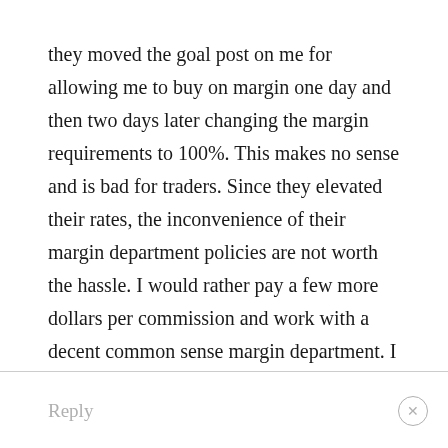they moved the goal post on me for allowing me to buy on margin one day and then two days later changing the margin requirements to 100%. This makes no sense and is bad for traders. Since they elevated their rates, the inconvenience of their margin department policies are not worth the hassle. I would rather pay a few more dollars per commission and work with a decent common sense margin department. I am closing my account and moving to another brokerage. Also, their after hours trading is horrible. They only allow after hours trades for on hour instead of the whole after hours session. Avoid the hassle of Optionshouse.
Reply